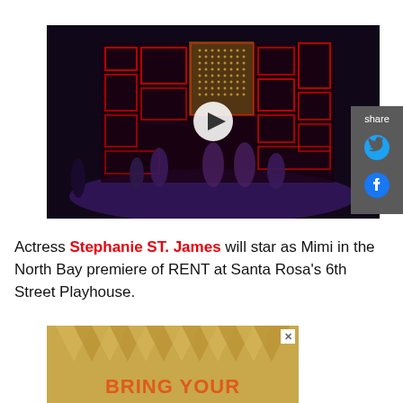[Figure (screenshot): Video thumbnail showing a theatrical stage production with colorful red-lit set pieces, performers on stage, dark background, with a white play button overlay in the center.]
Actress Stephanie ST. James will star as Mimi in the North Bay premiere of RENT at Santa Rosa's 6th Street Playhouse.
[Figure (other): Advertisement banner with gold sunburst pattern and text 'BRING YOUR' in orange letters, with an X close button in upper right corner.]